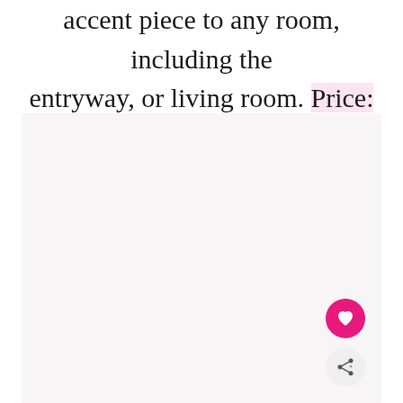accent piece to any room, including the entryway, or living room. Price: $49.00, Get it here.
[Figure (photo): Large light pinkish-gray rectangular image area placeholder with a heart favorite button and a share button overlaid at the bottom right corner.]